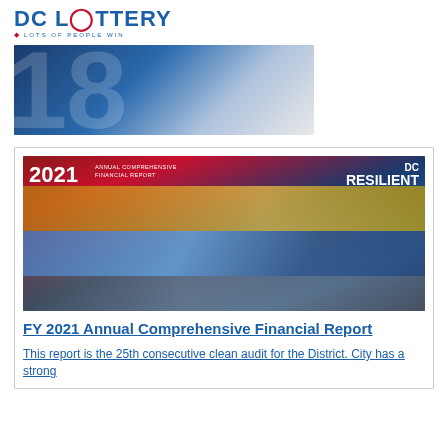[Figure (logo): DC Lottery logo with text 'DC LOTTERY' in blue and red, tagline 'LOTS OF PEOPLE WIN' below]
[Figure (photo): Banner image with large numbers '18' in the background, blue gradient design]
[Figure (photo): 2021 Annual Comprehensive Financial Report cover image showing DC city scenes with 'DC RESILIENT' text]
FY 2021 Annual Comprehensive Financial Report
This report is the 25th consecutive clean audit for the District. City has a strong